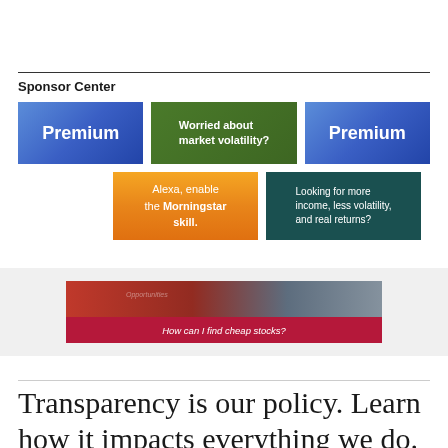Sponsor Center
[Figure (infographic): Three sponsor advertisement banners in a row: two blue 'Premium' ads and one green 'Worried about market volatility?' ad]
[Figure (infographic): Two sponsor advertisement banners: orange 'Alexa, enable the Morningstar skill.' and teal 'Looking for more income, less volatility, and real returns?']
[Figure (infographic): Wide banner ad with dark red overlay reading 'How can I find cheap stocks?']
Transparency is our policy. Learn how it impacts everything we do.